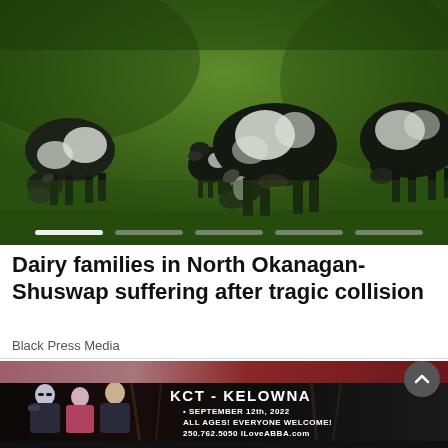[Figure (photo): Black and white dairy cows grazing on a green grass field, multiple cows visible, dark dramatic lighting]
Dairy families in North Okanagan-Shuswap suffering after tragic collision
Black Press Media
[Figure (photo): Advertisement banner: KCT - KELOWNA, SEPTEMBER 12th, 2022, ALL AGES! EVERYONE WELCOME! 250.762.5050 ILoveABBA.com, with people in concert attire on left side]